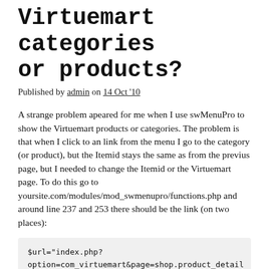Virtuemart categories or products?
Published by admin on 14 Oct '10
A strange problem apeared for me when I use swMenuPro to show the Virtuemart products or categories. The problem is that when I click to an link from the menu I go to the category (or product), but the Itemid stays the same as from the previus page, but I needed to change the Itemid or the Virtuemart page. To do this go to yoursite.com/modules/mod_swmenupro/functions.php and around line 237 and 253 there should be the link (on two places):
$url="index.php?option=com_virtuemart&page=shop.product_details&flypage=shop.flypage&product_id=".$result4->product_id."&category_id=". $result4-